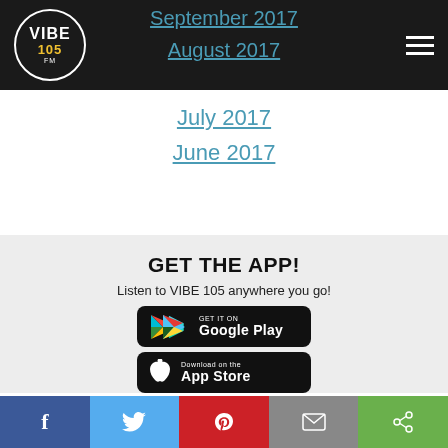VIBE 105
September 2017
August 2017
July 2017
June 2017
GET THE APP!
Listen to VIBE 105 anywhere you go!
[Figure (other): Google Play store badge button]
[Figure (other): Apple App Store badge button]
[Figure (other): Social sharing bar with Facebook, Twitter, Pinterest, Email, and Share buttons]